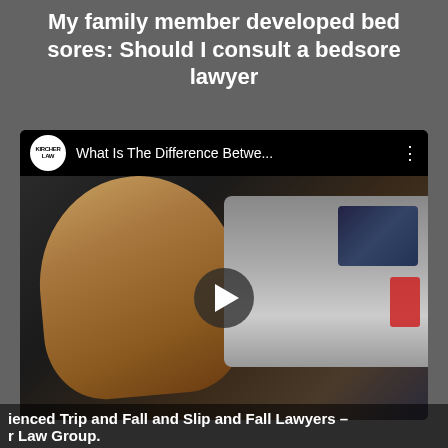My family member developed bed sores: Should I consult a bedsore lawyer
[Figure (screenshot): YouTube video thumbnail showing a woman with long blonde hair next to a car, with channel logo 'KIRCHER LAW' and title 'What Is The Difference Betwe...' with three-dot menu, and a play button overlay.]
ienced Trip and Fall and Slip and Fall Lawyers – r Law Group.